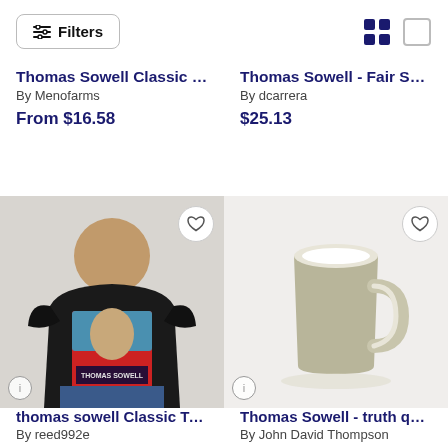Filters
Thomas Sowell Classic Mug
By Menofarms
From $16.58
Thomas Sowell - Fair Share...
By dcarrera
$25.13
[Figure (photo): Person wearing a black T-shirt with Thomas Sowell graphic design (poster-style red/blue/brown portrait) and text 'THOMAS SOWELL']
[Figure (photo): A tan/olive colored ceramic mug with white interior on a light background]
thomas sowell Classic T-Sh...
By reed992e
Thomas Sowell - truth quot...
By John David Thompson